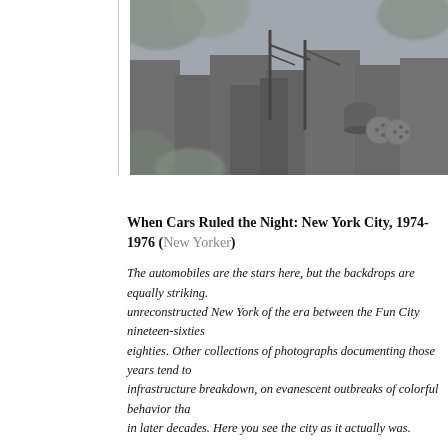[Figure (photo): Aerial black and white photograph of an industrial urban area, showing rooftops, water towers, and city infrastructure, likely New York City]
When Cars Ruled the Night: New York City, 1974-1976 (New Yorker)
The automobiles are the stars here, but the backdrops are equally striking. unreconstructed New York of the era between the Fun City nineteen-sixties eighties. Other collections of photographs documenting those years tend to infrastructure breakdown, on evanescent outbreaks of colorful behavior tha in later decades. Here you see the city as it actually was.
The South Bronx of America: photographs by Mel Rosenthal - at the M through January 8, 2017 (Guardian)
More on Mierle Laderman Ukeles's Maintenance Art, on view at the Q